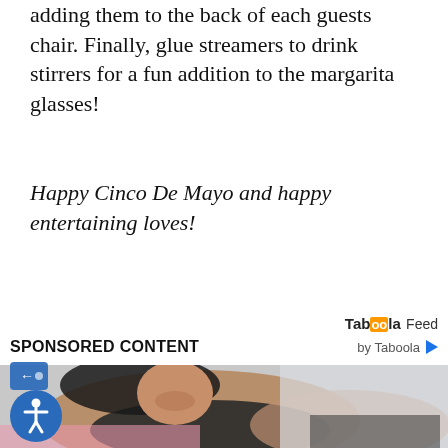adding them to the back of each guests chair. Finally, glue streamers to drink stirrers for a fun addition to the margarita glasses!
Happy Cinco De Mayo and happy entertaining loves!
Taboola Feed
SPONSORED CONTENT
by Taboola
[Figure (photo): A smiling woman in a black sports bra doing exercises, photographed from above at an angle. She appears to be on a yoga mat or exercise surface.]